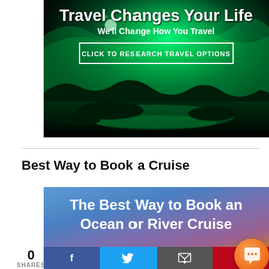[Figure (photo): Travel advertisement banner with Northern Lights/aurora borealis over a reflective landscape. Text: 'Travel Changes Your Life / We'll Change How You Travel' and button 'CLICK TO RESEARCH TRAVEL OPTIONS']
Best Way to Book a Cruise
[Figure (photo): Blue-purple gradient banner with text: 'The Best Way to Book an Ocean or River Cruise']
0
SHARES